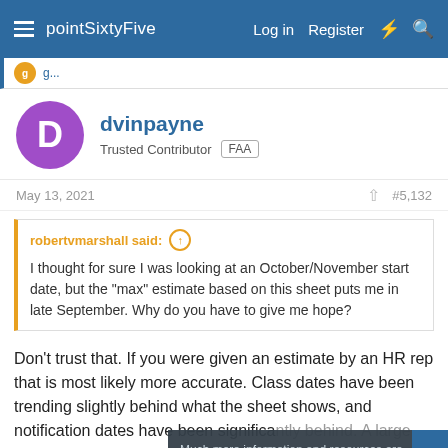pointSixtyFive — Log in  Register
dvinpayne
Trusted Contributor  FAA
May 13, 2021  #5,132
robertvmarshall said:
I thought for sure I was looking at an October/November start date, but the "max" estimate based on this sheet puts me in late September. Why do you have to give me hope?
Don't trust that. If you were given an estimate by an HR rep that is most likely more accurate. Class dates have been trending slightly behind what the sheet shows, and notification dates have been significantly behind. A large number of people were cleared at the same time in February w is skewing the data. Once we get past that clump and into March clearances it should be more accurate.
Much more information and resources are available to registered users, so sign up now! Also, please read our site usage guidelines. These will help you get the most out of the site. Thanks!